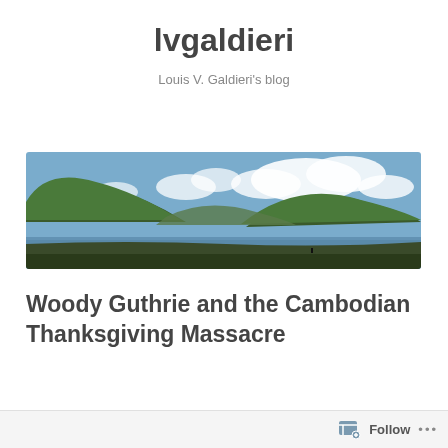lvgaldieri
Louis V. Galdieri's blog
Menu
[Figure (photo): Panoramic landscape photo showing forested hills and a calm river or lake under a partly cloudy sky]
Woody Guthrie and the Cambodian Thanksgiving Massacre
Follow ...